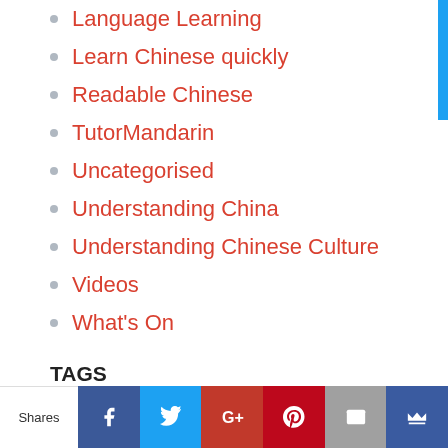Language Learning
Learn Chinese quickly
Readable Chinese
TutorMandarin
Uncategorised
Understanding China
Understanding Chinese Culture
Videos
What's On
TAGS